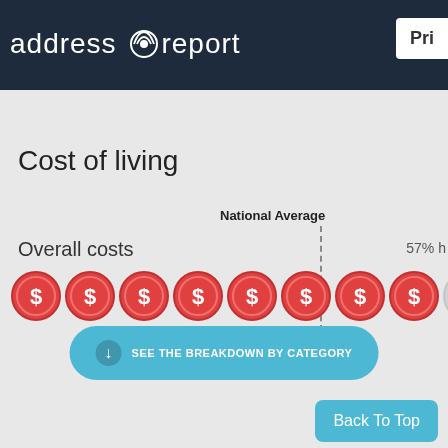address report
Cost of living
National Average
Overall costs
57% h
[Figure (infographic): A row of 9 red dollar-sign coin icons representing cost of living score, with a dashed vertical line indicating the National Average between the 5th and 6th coin. The last coin is faded/gray indicating partial value. The coins represent overall costs at 57% higher than national average.]
SEE THE BREAKDOWN BY CATEGORY
Back To Top